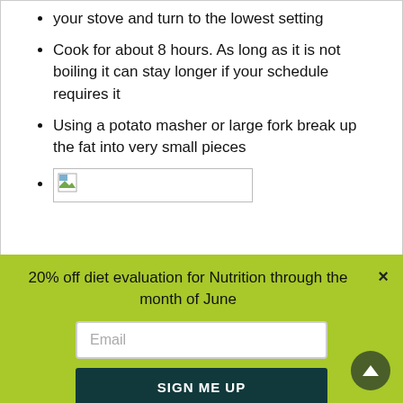your stove and turn to the lowest setting
Cook for about 8 hours. As long as it is not boiling it can stay longer if your schedule requires it
Using a potato masher or large fork break up the fat into very small pieces
[image placeholder]
20% off diet evaluation for Nutrition through the month of June
Email
SIGN ME UP